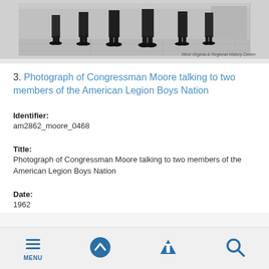[Figure (photo): Black and white photograph (cropped) showing legs and lower bodies of several people standing, likely at a formal event. Caption reads 'West Virginia & Regional History Center'.]
West Virginia & Regional History Center
3. Photograph of Congressman Moore talking to two members of the American Legion Boys Nation
Identifier:
am2862_moore_0468
Title:
Photograph of Congressman Moore talking to two members of the American Legion Boys Nation
Date:
1962